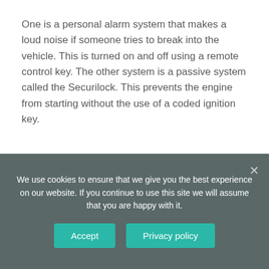One is a personal alarm system that makes a loud noise if someone tries to break into the vehicle. This is turned on and off using a remote control key. The other system is a passive system called the Securilock. This prevents the engine from starting without the use of a coded ignition key.
How to reset the anti theft system in a Ford?
1 Insert the key into the ignition and turn it on to the position where the accessories are
We use cookies to ensure that we give you the best experience on our website. If you continue to use this site we will assume that you are happy with it.